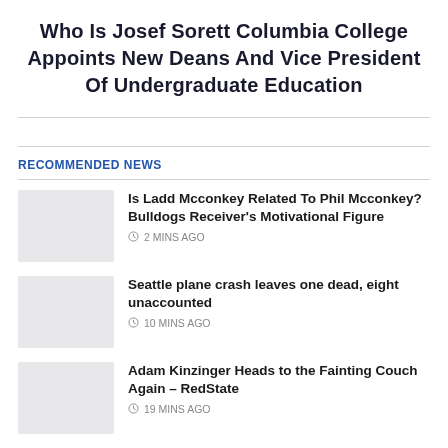Who Is Josef Sorett Columbia College Appoints New Deans And Vice President Of Undergraduate Education
RECOMMENDED NEWS
Is Ladd Mcconkey Related To Phil Mcconkey? Bulldogs Receiver's Motivational Figure
Seattle plane crash leaves one dead, eight unaccounted
Adam Kinzinger Heads to the Fainting Couch Again – RedState